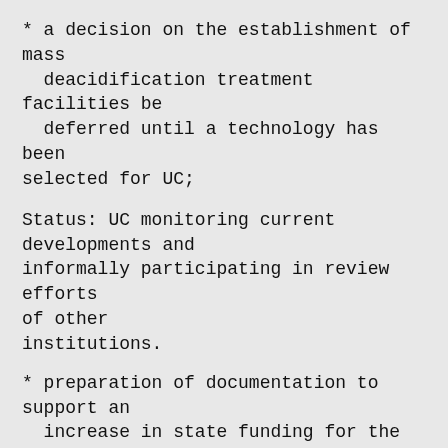* a decision on the establishment of mass deacidification treatment facilities be deferred until a technology has been selected for UC;
Status: UC monitoring current developments and informally participating in review efforts of other institutions.
* preparation of documentation to support an increase in state funding for the UCPP;
Status: Documentation prepared in 1988; no further action anticipated until the Library Council puts forward to the Office of the President a request for additional